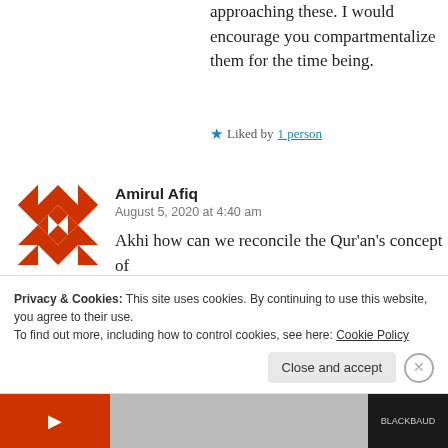approaching these. I would encourage you compartmentalize them for the time being.
★ Liked by 1 person
[Figure (illustration): Red geometric/floral avatar icon for user Amirul Afiq]
Amirul Afiq
August 5, 2020 at 4:40 am
Akhi how can we reconcile the Qur'an's concept of
Privacy & Cookies: This site uses cookies. By continuing to use this website, you agree to their use.
To find out more, including how to control cookies, see here: Cookie Policy
Close and accept